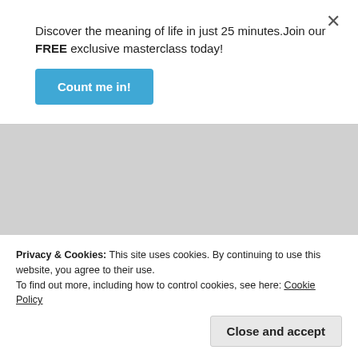Discover the meaning of life in just 25 minutes.Join our FREE exclusive masterclass today!
Count me in!
★ Like
Reply
Advertisements
Business in
Privacy & Cookies: This site uses cookies. By continuing to use this website, you agree to their use.
To find out more, including how to control cookies, see here: Cookie Policy
Close and accept